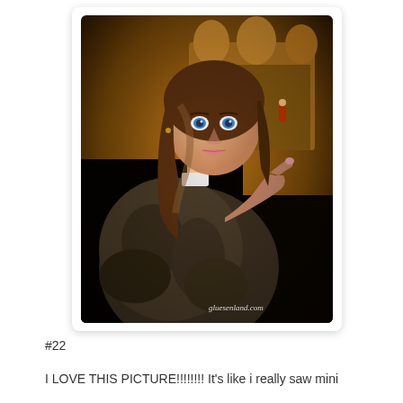[Figure (photo): Young woman with brown hair and blue eyes wearing a fuzzy/fur coat, pointing with her index finger toward something off-frame. She is photographed at night in what appears to be a theme park or entertainment venue with warm amber lighting and arched structures in the background. Watermark reads 'gluesenland.com' in the bottom right corner.]
#22
I LOVE THIS PICTURE!!!!!!!!  It's like i really saw mini